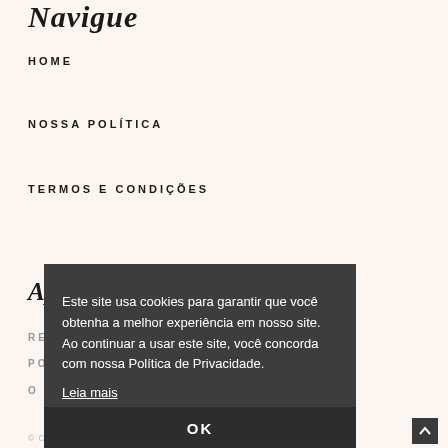Navigue
HOME
NOSSA POLÍTICA
TERMOS E CONDIÇÕES
Aprenda
RECOMENDADOS
PODCAST
O BLOG
Este site usa cookies para garantir que você obtenha a melhor experiência em nosso site. Ao continuar a usar este site, você concorda com nossa Política de Privacidade.
Leia mais
OK
© COPYRIGHT INSIGHTS 2022. THEME BY BLUCHIC.